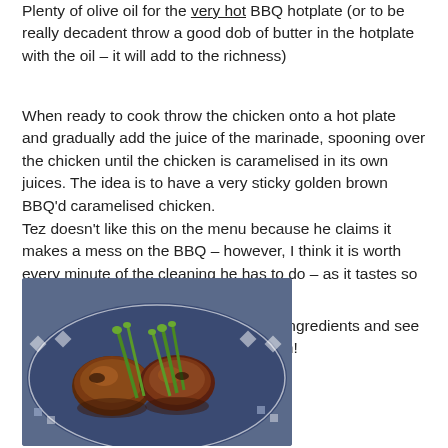Plenty of olive oil for the very hot BBQ hotplate (or to be really decadent throw a good dob of butter in the hotplate with the oil – it will add to the richness)
When ready to cook throw the chicken onto a hot plate and gradually add the juice of the marinade, spooning over the chicken until the chicken is caramelised in its own juices.  The idea is to have a very sticky golden brown BBQ'd caramelised chicken.
Tez doesn't like this on the menu because he claims it makes a mess on the BBQ – however, I think it is worth every minute of the cleaning he has to do – as it tastes so good!
Now go experiment; add and subtract ingredients and see how you can make this recipe your own!
[Figure (photo): Photo of caramelised BBQ chicken pieces with green onions/spring onions on a decorative blue and white patterned plate]